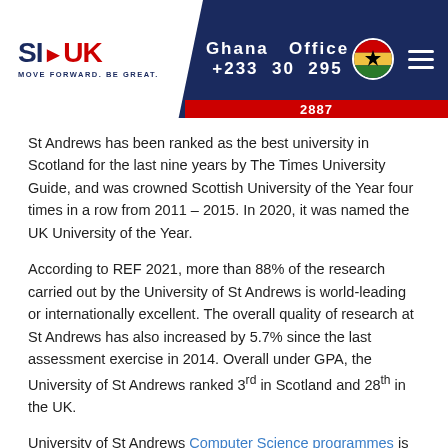SI-UK | Ghana Office +233 30 295 2887
St Andrews has been ranked as the best university in Scotland for the last nine years by The Times University Guide, and was crowned Scottish University of the Year four times in a row from 2011 – 2015. In 2020, it was named the UK University of the Year.
According to REF 2021, more than 88% of the research carried out by the University of St Andrews is world-leading or internationally excellent. The overall quality of research at St Andrews has also increased by 5.7% since the last assessment exercise in 2014. Overall under GPA, the University of St Andrews ranked 3rd in Scotland and 28th in the UK.
University of St Andrews Computer Science programmes is ranked number one in the UK.
Accommodation
The University guarantees an offer of accommodation in halls at St Andrews for all undergraduate first year students, providing that